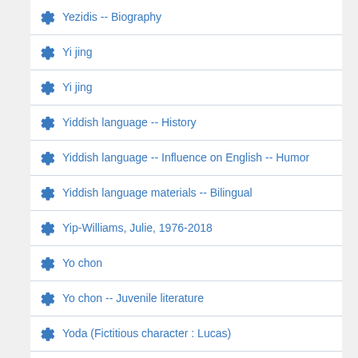Yezidis -- Biography
Yi jing
Yi jing
Yiddish language -- History
Yiddish language -- Influence on English -- Humor
Yiddish language materials -- Bilingual
Yip-Williams, Julie, 1976-2018
Yo chon
Yo chon -- Juvenile literature
Yoda (Fictitious character : Lucas)
Yoda (Fictitious character : Lucas) -- Comic books, strips, etc